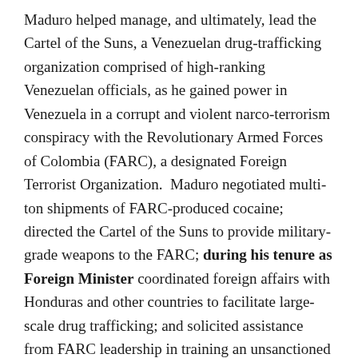Maduro helped manage, and ultimately, lead the Cartel of the Suns, a Venezuelan drug-trafficking organization comprised of high-ranking Venezuelan officials, as he gained power in Venezuela in a corrupt and violent narco-terrorism conspiracy with the Revolutionary Armed Forces of Colombia (FARC), a designated Foreign Terrorist Organization. Maduro negotiated multi-ton shipments of FARC-produced cocaine; directed the Cartel of the Suns to provide military-grade weapons to the FARC; during his tenure as Foreign Minister coordinated foreign affairs with Honduras and other countries to facilitate large-scale drug trafficking; and solicited assistance from FARC leadership in training an unsanctioned militia group that functioned, in essence, as an armed forces unit for the Cartel of the Suns.